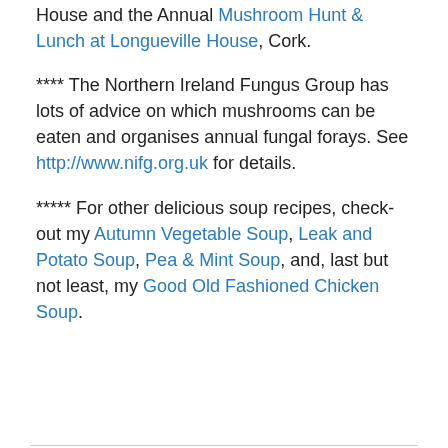House and the Annual Mushroom Hunt & Lunch at Longueville House, Cork.
**** The Northern Ireland Fungus Group has lots of advice on which mushrooms can be eaten and organises annual fungal forays. See http://www.nifg.org.uk for details.
***** For other delicious soup recipes, check-out my Autumn Vegetable Soup, Leak and Potato Soup, Pea & Mint Soup, and, last but not least, my Good Old Fashioned Chicken Soup.
Share this: